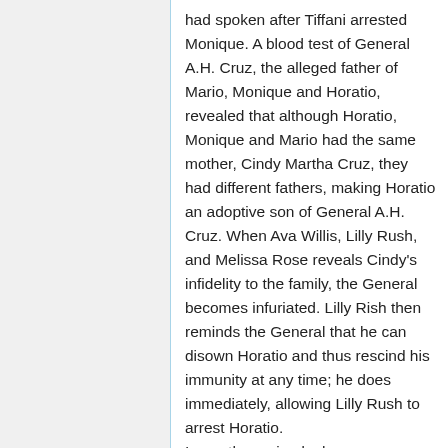had spoken after Tiffani arrested Monique. A blood test of General A.H. Cruz, the alleged father of Mario, Monique and Horatio, revealed that although Horatio, Monique and Mario had the same mother, Cindy Martha Cruz, they had different fathers, making Horatio an adoptive son of General A.H. Cruz. When Ava Willis, Lilly Rush, and Melissa Rose reveals Cindy's infidelity to the family, the General becomes infuriated. Lilly Rish then reminds the General that he can disown Horatio and thus rescind his immunity at any time; he does immediately, allowing Lilly Rush to arrest Horatio. In another episode, however, Horatio escapes custody after a cohort steals